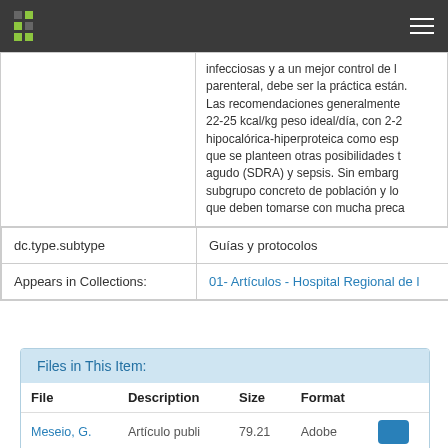Navigation bar with logo and hamburger menu
infecciosas y a un mejor control de la parenteral, debe ser la práctica están. Las recomendaciones generalmente 22-25 kcal/kg peso ideal/día, con 2-2 hipocalórica-hiperproteica como esp que se planteen otras posibilidades t agudo (SDRA) y sepsis. Sin embarg subgrupo concreto de población y lo que deben tomarse con mucha preca
|  |  |
| --- | --- |
| dc.type.subtype | Guías y protocolos |
| Appears in Collections: | 01- Artículos - Hospital Regional de l |
Files in This Item:
| File | Description | Size | Format |  |
| --- | --- | --- | --- | --- |
| Meseio, G. | Artículo publi | 79.21 | Adobe |  |